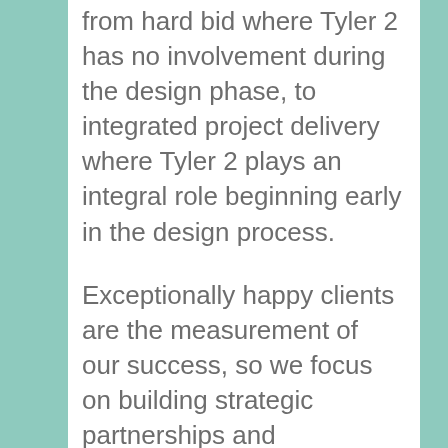from hard bid where Tyler 2 has no involvement during the design phase, to integrated project delivery where Tyler 2 plays an integral role beginning early in the design process.
Exceptionally happy clients are the measurement of our success, so we focus on building strategic partnerships and collaborative solutions for a broad range of clients and project types. Our people are experts in managing everything from small renovations to multimillion-